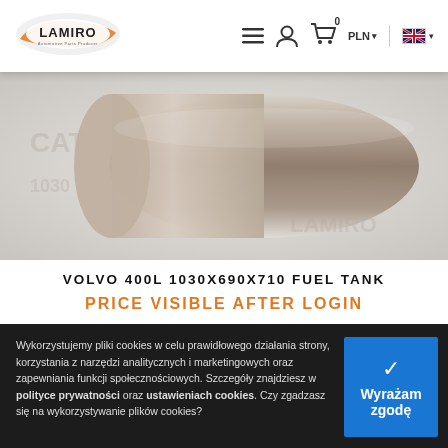[Figure (logo): Lamiro Automotive Parts Producer logo — orange oval with car silhouette, black text LAMIRO]
[Figure (photo): Silver/metallic cylindrical fuel tank product photo on light grey background]
VOLVO 400L 1030X690X710 FUEL TANK
PRICE VISIBLE AFTER LOGIN
Wykorzystujemy pliki cookies w celu prawidłowego działania strony, korzystania z narzędzi analitycznych i marketingowych oraz zapewniania funkcji społecznościowych. Szczegóły znajdziesz w polityce prywatności oraz ustawieniach cookies. Czy zgadzasz się na wykorzystywanie plików cookies?
Wyrażam zgodę